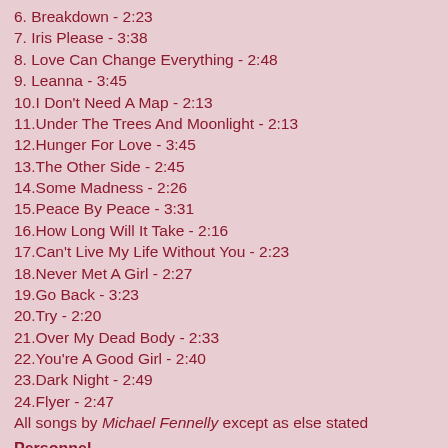6. Breakdown - 2:23
7. Iris Please - 3:38
8. Love Can Change Everything - 2:48
9. Leanna - 3:45
10.I Don't Need A Map - 2:13
11.Under The Trees And Moonlight - 2:13
12.Hunger For Love - 3:45
13.The Other Side - 2:45
14.Some Madness - 2:26
15.Peace By Peace - 3:31
16.How Long Will It Take - 2:16
17.Can't Live My Life Without You - 2:23
18.Never Met A Girl - 2:27
19.Go Back - 3:23
20.Try - 2:20
21.Over My Dead Body - 2:33
22.You're A Good Girl - 2:40
23.Dark Night - 2:49
24.Flyer - 2:47
All songs by Michael Fennelly except as else stated
Personnel